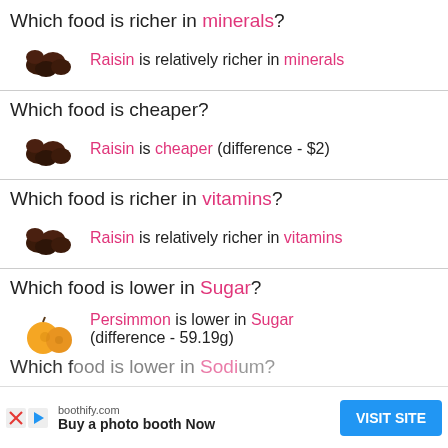Which food is richer in minerals?
[Figure (photo): Image of raisins]
Raisin is relatively richer in minerals
Which food is cheaper?
[Figure (photo): Image of raisins]
Raisin is cheaper (difference - $2)
Which food is richer in vitamins?
[Figure (photo): Image of raisins]
Raisin is relatively richer in vitamins
Which food is lower in Sugar?
[Figure (photo): Image of persimmon]
Persimmon is lower in Sugar (difference - 59.19g)
Which food is lower in Sodium?
[Figure (other): Advertisement banner: boothify.com Buy a photo booth Now VISIT SITE]